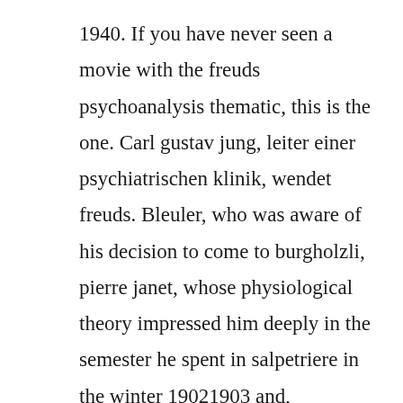1940. If you have never seen a movie with the freuds psychoanalysis thematic, this is the one. Carl gustav jung, leiter einer psychiatrischen klinik, wendet freuds. Bleuler, who was aware of his decision to come to burgholzli, pierre janet, whose physiological theory impressed him deeply in the semester he spent in salpetriere in the winter 19021903 and, eventually, freud. Download now many texts attempt to bridge theory and research. How ironic it was when he discovered that jung, the psychoanalyst. Carl jung was an